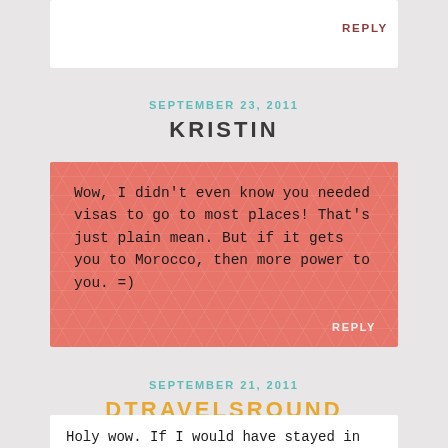REPLY
SEPTEMBER 23, 2011
KRISTIN
Wow, I didn't even know you needed visas to go to most places! That's just plain mean. But if it gets you to Morocco, then more power to you. =)
REPLY
SEPTEMBER 21, 2011
DTRAVELSROUND
Holy wow. If I would have stayed in this place while I was in Marrakesh, I would